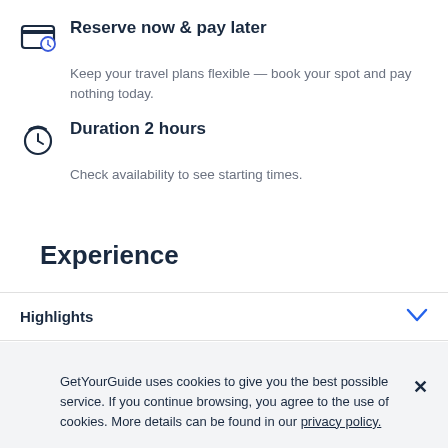Reserve now & pay later
Keep your travel plans flexible — book your spot and pay nothing today.
Duration 2 hours
Check availability to see starting times.
Experience
Highlights
Full description
GetYourGuide uses cookies to give you the best possible service. If you continue browsing, you agree to the use of cookies. More details can be found in our privacy policy.